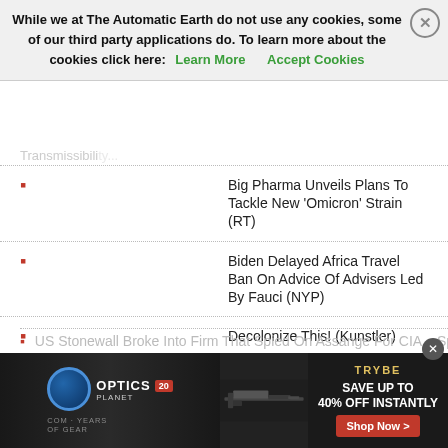While we at The Automatic Earth do not use any cookies, some of our third party applications do. To learn more about the cookies click here: Learn More   Accept Cookies
Big Pharma Unveils Plans To Tackle New ‘Omicron’ Strain (RT)
Biden Delayed Africa Travel Ban On Advice Of Advisers Led By Fauci (NYP)
Decolonize This! (Kunstler)
Why The Retail Industry Is Fighting Vaccine Mandates (NYT)
A Pandemic Of The Vaccinated Or Ivermectin Ignored? (Hope)
Florida Reports Lowest Daily Coronavirus Cases Per Capita In Nation (Fox)
Pharmacy Chains Found Liable For Opioid Crisis In Ohio (PM)
Ukraine Says It’s Ready To Defend Itself Against Russia (RT)
US Stonewall Broke Into Firm That Spied On Assange For CIA – Spanish
[Figure (screenshot): Advertisement banner for OpticsPlanet featuring TRYBE brand with text SAVE UP TO 40% OFF INSTANTLY and Shop Now button]